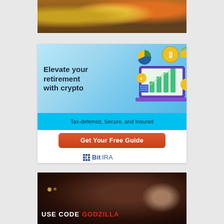[Figure (photo): Photo of various food dishes including pancakes, bowls of beans, rice, salads, and beverages arranged together]
[Figure (infographic): BitIRA advertisement: 'Elevate your retirement with crypto' with crypto/laptop illustration. Tagline: 'Tax-deferred, Secure, and Insured'. Orange button: 'Get Your Free Guide'. BitIRA logo at bottom.]
[Figure (photo): Dark advertisement image with hands and glowing dots. Text reads 'USE CODE GODZILLA' in white and red bold letters.]